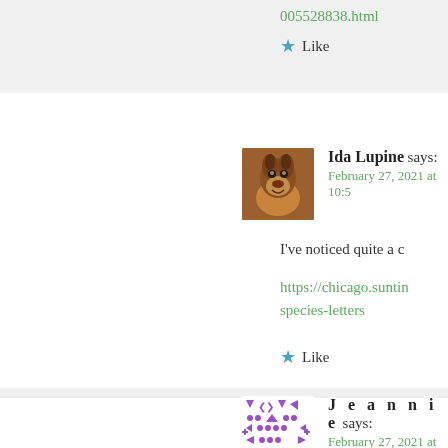005528838.html
Like
Ida Lupine says:
February 27, 2021 at 10:5...
I've noticed quite a c...
https://chicago.suntin... species-letters
Like
J e a n n i e says:
February 27, 2021 at 1:07...
They need to leave th... people that wants to t... and they want the wil... the land a hell of a lo... millions of years so l...
Like